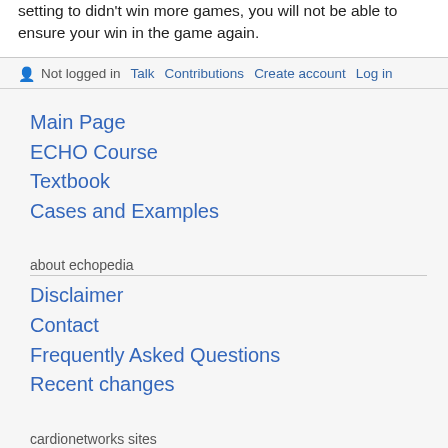setting to didn't win more games, you will not be able to ensure your win in the game again.
Not logged in  Talk  Contributions  Create account  Log in
Main Page
ECHO Course
Textbook
Cases and Examples
about echopedia
Disclaimer
Contact
Frequently Asked Questions
Recent changes
cardionetworks sites